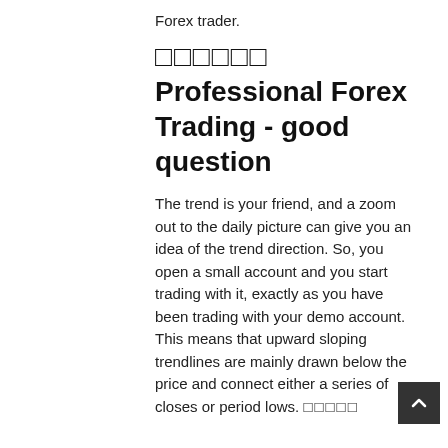Forex trader.
□□□□□□ Professional Forex Trading - good question
The trend is your friend, and a zoom out to the daily picture can give you an idea of the trend direction. So, you open a small account and you start trading with it, exactly as you have been trading with your demo account. This means that upward sloping trendlines are mainly drawn below the price and connect either a series of closes or period lows. □□□□□